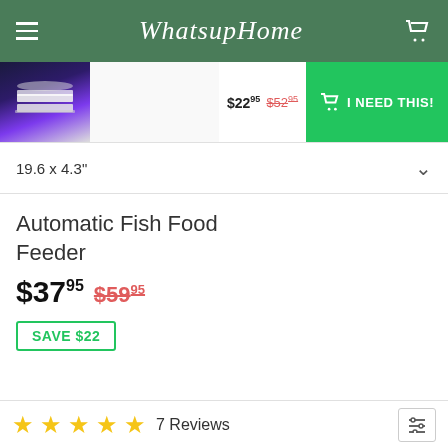WhatsupHome
[Figure (screenshot): Product thumbnail image of white stacked plates/fish feeder on dark background]
$22.95  $52.95
I NEED THIS!
19.6 x 4.3"
Automatic Fish Food Feeder
$37.95  $59.95
SAVE $22
7 Reviews